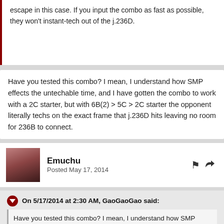escape in this case. If you input the combo as fast as possible, they won't instant-tech out of the j.236D.
Have you tested this combo? I mean, I understand how SMP effects the untechable time, and I have gotten the combo to work with a 2C starter, but with 6B(2) > 5C > 2C starter the opponent literally techs on the exact frame that j.236D hits leaving no room for 236B to connect.
Emuchu
Posted May 17, 2014
On 5/17/2014 at 2:30 AM, GaoGaoGao said:
Have you tested this combo? I mean, I understand how SMP effects the untechable time, and I have gotten the combo to work with a 2C starter, but with 6B(2) > 5C > 2C starter the opponent literally techs on the exact frame that j.236D hits leaving no room for 236B to connect.